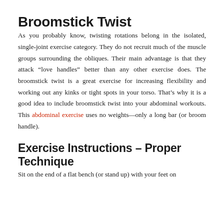Broomstick Twist
As you probably know, twisting rotations belong in the isolated, single-joint exercise category. They do not recruit much of the muscle groups surrounding the obliques. Their main advantage is that they attack “love handles” better than any other exercise does. The broomstick twist is a great exercise for increasing flexibility and working out any kinks or tight spots in your torso. That’s why it is a good idea to include broomstick twist into your abdominal workouts. This abdominal exercise uses no weights—only a long bar (or broom handle).
Exercise Instructions – Proper Technique
Sit on the end of a flat bench (or stand up) with your feet on